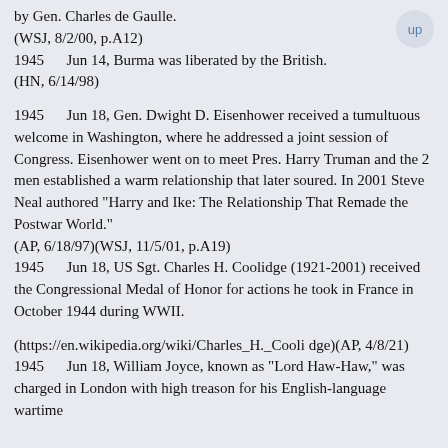by Gen. Charles de Gaulle.
    (WSJ, 8/2/00, p.A12)
1945      Jun 14, Burma was liberated by the British.
    (HN, 6/14/98)
1945      Jun 18, Gen. Dwight D. Eisenhower received a tumultuous welcome in Washington, where he addressed a joint session of Congress. Eisenhower went on to meet Pres. Harry Truman and the 2 men established a warm relationship that later soured. In 2001 Steve Neal authored "Harry and Ike: The Relationship That Remade the Postwar World."
    (AP, 6/18/97)(WSJ, 11/5/01, p.A19)
1945      Jun 18, US Sgt. Charles H. Coolidge (1921-2001) received the Congressional Medal of Honor for actions he took in France in October 1944 during WWII.

(https://en.wikipedia.org/wiki/Charles_H._Coolidge)(AP, 4/8/21)
1945      Jun 18, William Joyce, known as "Lord Haw-Haw," was charged in London with high treason for his English-language wartime